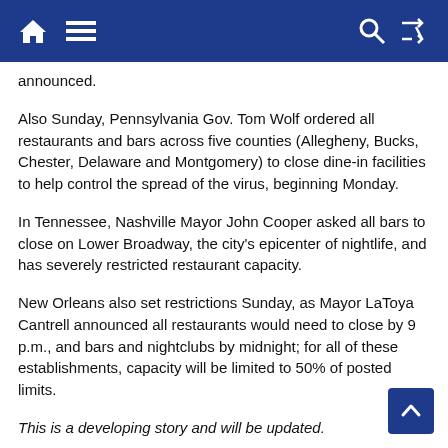Navigation bar with home, menu, search, and shuffle icons
announced.
Also Sunday, Pennsylvania Gov. Tom Wolf ordered all restaurants and bars across five counties (Allegheny, Bucks, Chester, Delaware and Montgomery) to close dine-in facilities to help control the spread of the virus, beginning Monday.
In Tennessee, Nashville Mayor John Cooper asked all bars to close on Lower Broadway, the city's epicenter of nightlife, and has severely restricted restaurant capacity.
New Orleans also set restrictions Sunday, as Mayor LaToya Cantrell announced all restaurants would need to close by 9 p.m., and bars and nightclubs by midnight; for all of these establishments, capacity will be limited to 50% of posted limits.
This is a developing story and will be updated.